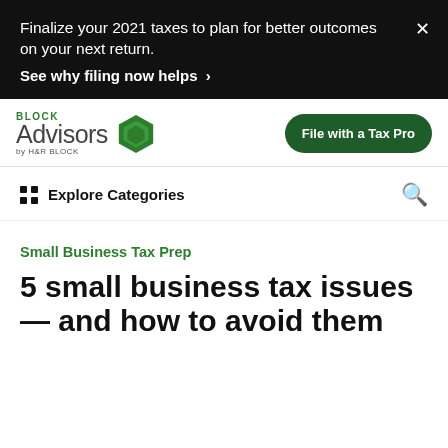Finalize your 2021 taxes to plan for better outcomes on your next return.
See why filing now helps >
[Figure (logo): Block Advisors by H&R Block logo with green hexagon icon]
File with a Tax Pro
Explore Categories
Small Business Tax Prep
5 small business tax issues — and how to avoid them